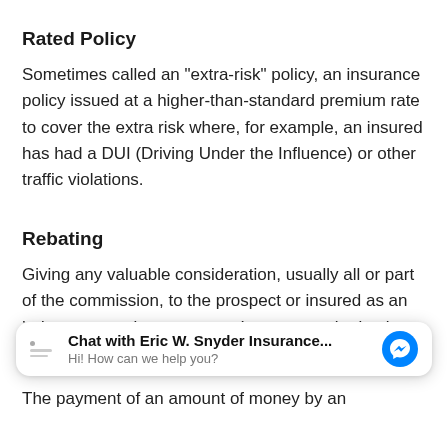Rated Policy
Sometimes called an "extra-risk" policy, an insurance policy issued at a higher-than-standard premium rate to cover the extra risk where, for example, an insured has had a DUI (Driving Under the Influence) or other traffic violations.
Rebating
Giving any valuable consideration, usually all or part of the commission, to the prospect or insured as an inducement to buy or renew. Insurance rebating is prohibited by law.
[Figure (screenshot): Chat widget overlay: 'Chat with Eric W. Snyder Insurance...' with Messenger icon and 'Hi! How can we help you?' subtext]
The payment of an amount of money by an